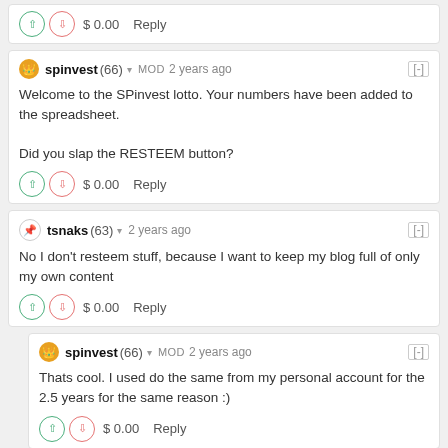$ 0.00   Reply
spinvest (66) ▾ MOD 2 years ago [-]
Welcome to the SPinvest lotto. Your numbers have been added to the spreadsheet.

Did you slap the RESTEEM button?
$ 0.00   Reply
tsnaks (63) ▾ 2 years ago [-]
No I don't resteem stuff, because I want to keep my blog full of only my own content
$ 0.00   Reply
spinvest (66) ▾ MOD 2 years ago [-]
Thats cool. I used do the same from my personal account for the 2.5 years for the same reason :)
$ 0.00   Reply
dkid14 (62) ▾ 2 years ago